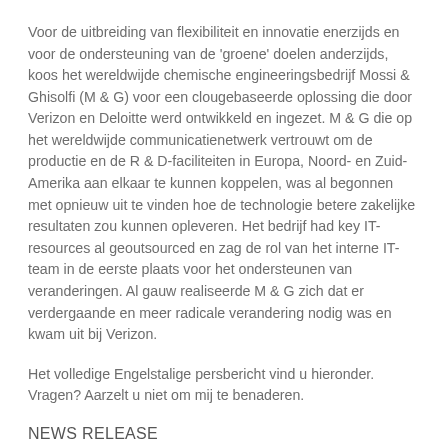Voor de uitbreiding van flexibiliteit en innovatie enerzijds en voor de ondersteuning van de 'groene' doelen anderzijds, koos het wereldwijde chemische engineeringsbedrijf Mossi & Ghisolfi (M & G) voor een clougebaseerde oplossing die door Verizon en Deloitte werd ontwikkeld en ingezet. M & G die op het wereldwijde communicatienetwerk vertrouwt om de productie en de R & D-faciliteiten in Europa, Noord- en Zuid-Amerika aan elkaar te kunnen koppelen, was al begonnen met opnieuw uit te vinden hoe de technologie betere zakelijke resultaten zou kunnen opleveren. Het bedrijf had key IT-resources al geoutsourced en zag de rol van het interne IT-team in de eerste plaats voor het ondersteunen van veranderingen. Al gauw realiseerde M & G zich dat er verdergaande en meer radicale verandering nodig was en kwam uit bij Verizon.
Het volledige Engelstalige persbericht vind u hieronder. Vragen? Aarzelt u niet om mij te benaderen.
NEWS RELEASE